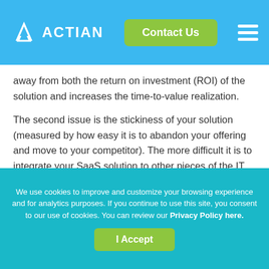ACTIAN | Contact Us
away from both the return on investment (ROI) of the solution and increases the time-to-value realization.
The second issue is the stickiness of your solution (measured by how easy it is to abandon your offering and move to your competitor).  The more difficult it is to integrate your SaaS solution to other pieces of the IT ecosystem, the fewer connections customers will build.  With each connection, your solution becomes more important to the company
We use cookies to improve and customize your browsing experience and for analytics purposes. If you continue to use this site, you consent to our use of cookies. You can review our Privacy Policy here.
I Accept